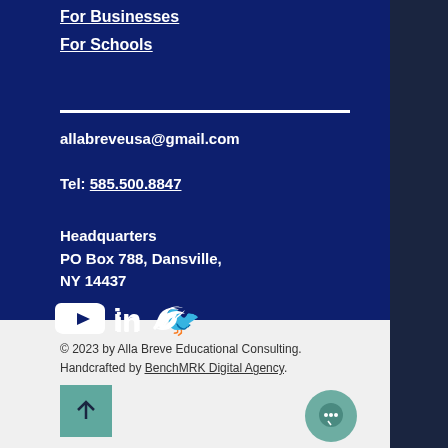For Businesses
For Schools
allabreveusa@gmail.com
Tel: 585.500.8847
Headquarters
PO Box 788, Dansville,
NY 14437
[Figure (illustration): Social media icons: YouTube, LinkedIn, Twitter in white]
© 2023 by Alla Breve Educational Consulting. Handcrafted by BenchMRK Digital Agency.